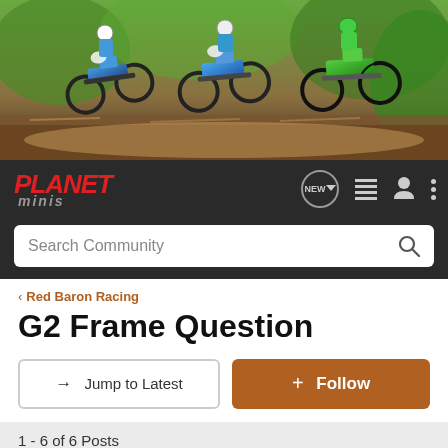[Figure (photo): Banner photo of motocross dirt bike riders racing on a dirt trail with green vegetation in the background]
PLANET minis — forum navigation header with NEW badge, list icon, user icon, and menu dots
Search Community
< Red Baron Racing
G2 Frame Question
→ Jump to Latest
+ Follow
1 - 6 of 6 Posts
Mx353 · Registered 🇺🇸
2006 cr250, 2021 crf110, 2020 HD FXLRS